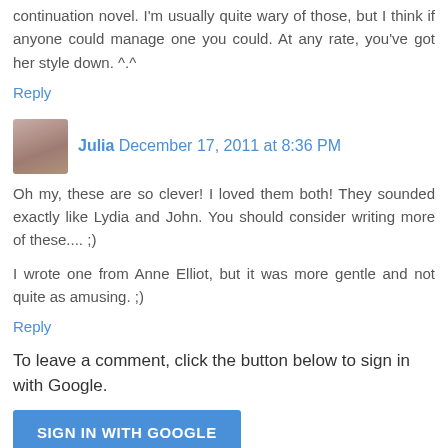continuation novel. I'm usually quite wary of those, but I think if anyone could manage one you could. At any rate, you've got her style down. ^.^
Reply
Julia  December 17, 2011 at 8:36 PM
Oh my, these are so clever! I loved them both! They sounded exactly like Lydia and John. You should consider writing more of these.... ;)
I wrote one from Anne Elliot, but it was more gentle and not quite as amusing. ;)
Reply
To leave a comment, click the button below to sign in with Google.
SIGN IN WITH GOOGLE
Hello there! I love to hear from my readers so